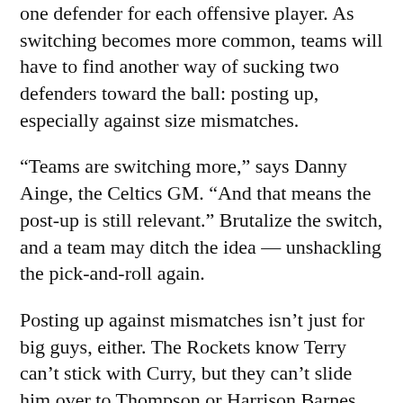one defender for each offensive player. As switching becomes more common, teams will have to find another way of sucking two defenders toward the ball: posting up, especially against size mismatches.
“Teams are switching more,” says Danny Ainge, the Celtics GM. “And that means the post-up is still relevant.” Brutalize the switch, and a team may ditch the idea — unshackling the pick-and-roll again.
Posting up against mismatches isn’t just for big guys, either. The Rockets know Terry can’t stick with Curry, but they can’t slide him over to Thompson or Harrison Barnes, either. Those guys aren’t high-volume post-up killers, but they’ve shown they’re just polished enough to do back-to-the-basket damage against shrimps. You don’t have to be great. You just have to be competent. That competence has been a crucial ingredient for Golden State in this series.